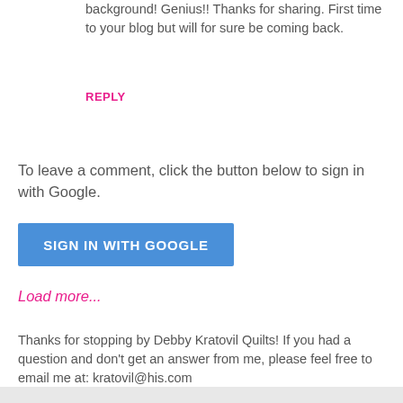background! Genius!! Thanks for sharing. First time to your blog but will for sure be coming back.
REPLY
To leave a comment, click the button below to sign in with Google.
[Figure (other): Blue 'SIGN IN WITH GOOGLE' button]
Load more...
Thanks for stopping by Debby Kratovil Quilts! If you had a question and don't get an answer from me, please feel free to email me at: kratovil@his.com